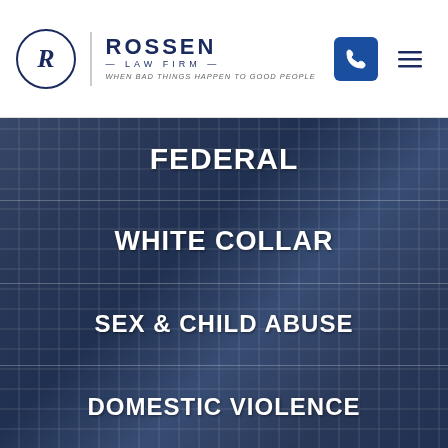Rossen Law Firm — When Bad Things Happen to Good People
FEDERAL
WHITE COLLAR
SEX & CHILD ABUSE
DOMESTIC VIOLENCE